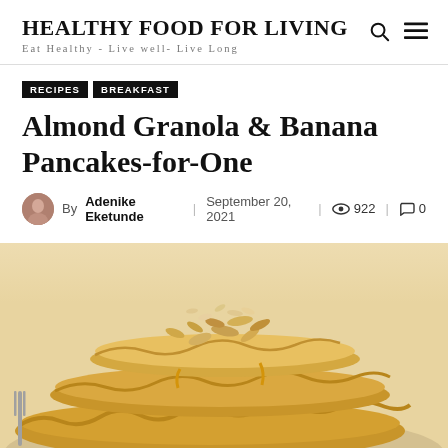HEALTHY FOOD FOR LIVING — Eat Healthy - Live well- Live Long
RECIPES   BREAKFAST
Almond Granola & Banana Pancakes-for-One
By Adenike Eketunde | September 20, 2021 | 922 | 0
[Figure (photo): Stack of almond granola banana pancakes topped with oats and almonds, served on a plate with a fork visible on the side.]